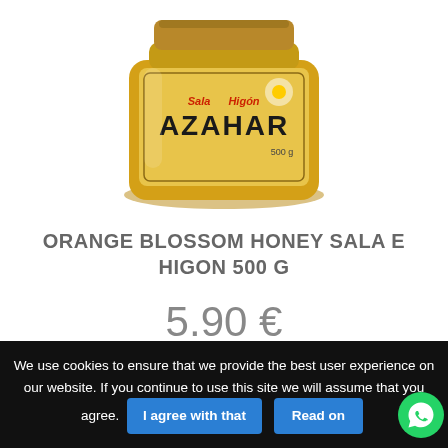[Figure (photo): A jar of Sala e Higon Azahar orange blossom honey, 500g, with golden/amber label, seen from slightly above, cropped at top.]
ORANGE BLOSSOM HONEY SALA E HIGON 500 G
5.90 €
We use cookies to ensure that we provide the best user experience on our website. If you continue to use this site we will assume that you agree.
I agree with that
Read on